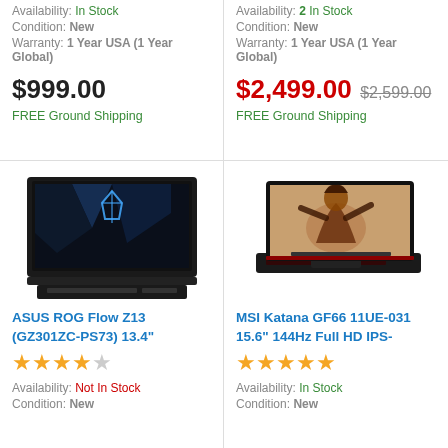Availability: In Stock
Condition: New
Warranty: 1 Year USA (1 Year Global)
$999.00
FREE Ground Shipping
Availability: 2 In Stock
Condition: New
Warranty: 1 Year USA (1 Year Global)
$2,499.00 $2,599.00
FREE Ground Shipping
[Figure (photo): ASUS ROG Flow Z13 laptop open showing ROG logo on screen, black chassis]
ASUS ROG Flow Z13 (GZ301ZC-PS73) 13.4"
★★★★☆ (4 stars)
Availability: Not In Stock
Condition: New
[Figure (photo): MSI Katana GF66 laptop open showing gaming artwork on screen, red keyboard backlight]
MSI Katana GF66 11UE-031 15.6" 144Hz Full HD IPS-
★★★★★ (5 stars)
Availability: In Stock
Condition: New